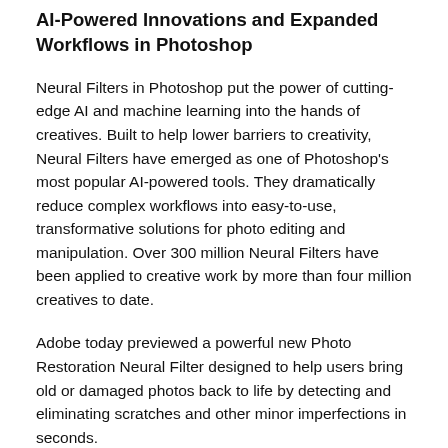AI-Powered Innovations and Expanded Workflows in Photoshop
Neural Filters in Photoshop put the power of cutting-edge AI and machine learning into the hands of creatives. Built to help lower barriers to creativity, Neural Filters have emerged as one of Photoshop's most popular AI-powered tools. They dramatically reduce complex workflows into easy-to-use, transformative solutions for photo editing and manipulation. Over 300 million Neural Filters have been applied to creative work by more than four million creatives to date.
Adobe today previewed a powerful new Photo Restoration Neural Filter designed to help users bring old or damaged photos back to life by detecting and eliminating scratches and other minor imperfections in seconds.
Adobe also announced updates to Photoshop on the web (beta)